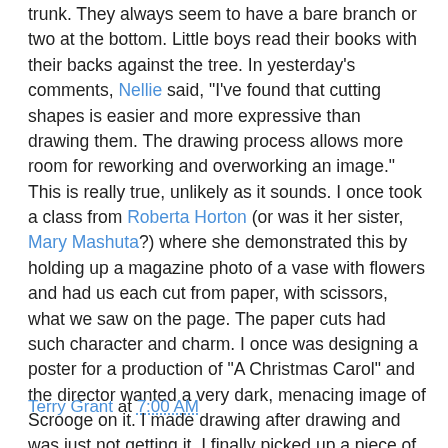trunk. They always seem to have a bare branch or two at the bottom. Little boys read their books with their backs against the tree. In yesterday's comments, Nellie said, "I've found that cutting shapes is easier and more expressive than drawing them. The drawing process allows more room for reworking and overworking an image." This is really true, unlikely as it sounds. I once took a class from Roberta Horton (or was it her sister, Mary Mashuta?) where she demonstrated this by holding up a magazine photo of a vase with flowers and had us each cut from paper, with scissors, what we saw on the page. The paper cuts had such character and charm. I once was designing a poster for a production of "A Christmas Carol" and the director wanted a very dark, menacing image of Scrooge on it. I made drawing after drawing and was just not getting it. I finally picked up a piece of black paper and cut out the face. Just what he wanted! And it is still one of my favorite illustrations I have ever done. I wonder if I still have a copy somewhere . . .
Terry Grant at 7:00 AM